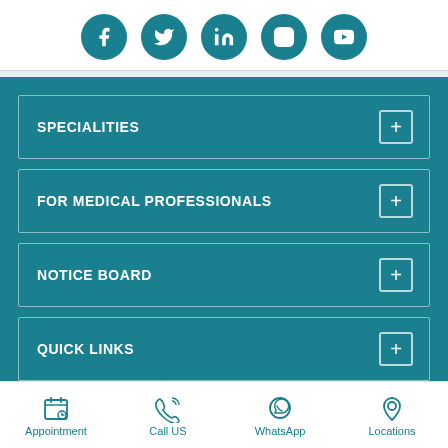[Figure (infographic): Row of 5 social media icon circles: Facebook, Twitter, LinkedIn, Instagram, YouTube — teal colored]
SPECIALITIES +
FOR MEDICAL PROFESSIONALS +
NOTICE BOARD +
QUICK LINKS +
ABOUT US +
Copyright @ 2022, Apollo Specialty Hospitals Pvt Ltd. All Rights
[Figure (infographic): Bottom navigation bar with 4 items: Appointment (calendar icon), Call US (phone icon), WhatsApp (whatsapp icon), Locations (location pin icon) — teal colored]